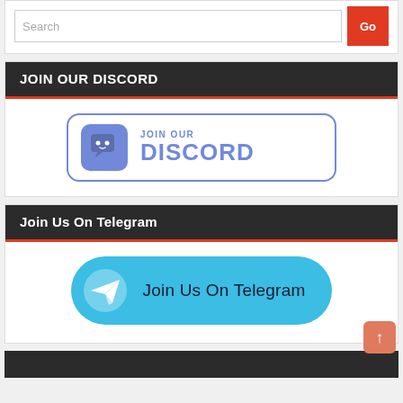[Figure (screenshot): Search bar with text input and red Go button]
JOIN OUR DISCORD
[Figure (illustration): Discord join button with Discord logo and text JOIN OUR DISCORD]
Join Us On Telegram
[Figure (illustration): Telegram join button with Telegram logo and text Join Us On Telegram]
[Figure (other): Partially visible bottom section header]